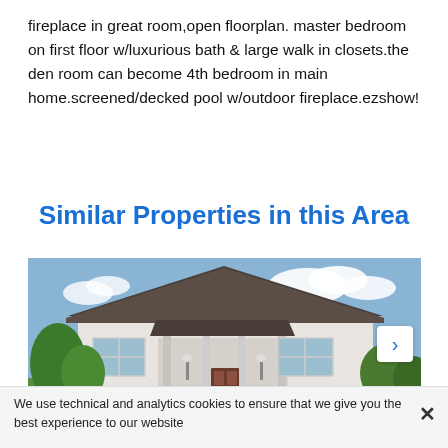fireplace in great room,open floorplan. master bedroom on first floor w/luxurious bath & large walk in closets.the den room can become 4th bedroom in main home.screened/decked pool w/outdoor fireplace.ezshow!
Similar Properties in this Area
[Figure (photo): Exterior photo of a white craftsman-style single-story house with dark roof, covered front porch, red-brown door, landscaping trees and shrubs, blue sky with clouds. A right-arrow navigation button is visible on the right side, and dot indicators at the bottom.]
We use technical and analytics cookies to ensure that we give you the best experience to our website